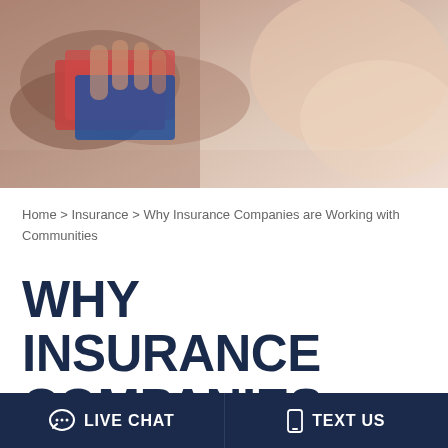[Figure (photo): Close-up photo of hands handling cards or papers, with warm beige and peach tones in the background.]
Home > Insurance > Why Insurance Companies are Working with Communities
WHY INSURANCE COMPANIES ARE WORKING WITH
LIVE CHAT
TEXT US